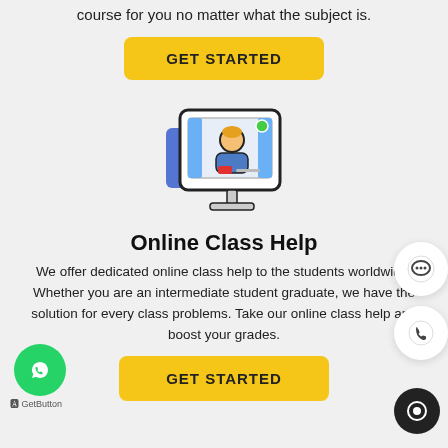course for you no matter what the subject is.
GET STARTED
[Figure (illustration): Icon of a computer monitor showing a person (student/teacher) in a video call, with a blue accent box and green circle, representing online class help.]
Online Class Help
We offer dedicated online class help to the students worldwide. Whether you are an intermediate student graduate, we have the solution for every class problems. Take our online class help and boost your grades.
GET STARTED